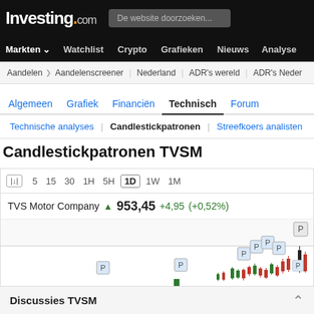Investing.com — De website doorzoeken...
Markten  Watchlist  Crypto  Grafieken  Nieuws  Analyse
Aandelen  Aandelenscreener  Nederland  ADR's wereld  ADR's Neder
Algemeen  Grafiek  Financiën  Technisch  Forum
Technische analyses  |  Candlestickpatronen  |  Streefkoers analisten
Candlestickpatronen TVSM
[Figure (other): Candlestick chart for TVS Motor Company (TVSM) showing timeframe controls (5, 15, 30, 1H, 5H, 1D selected, 1W, 1M), stock price 953,45 with change +4,95 (+0,52%), and candlestick pattern markers labeled P across the chart]
Discussies TVSM